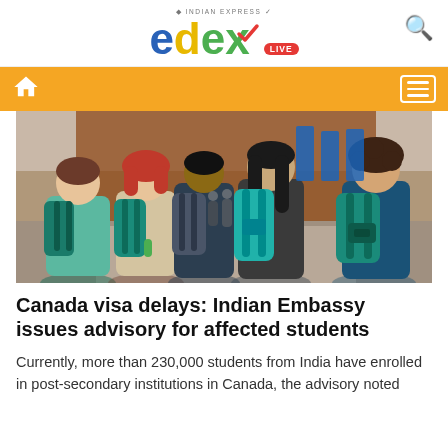edex LIVE — Indian Express
[Figure (photo): Group of students with backpacks walking away from camera on a urban campus walkway, seen from behind. Students wearing teal/turquoise backpacks.]
Canada visa delays: Indian Embassy issues advisory for affected students
Currently, more than 230,000 students from India have enrolled in post-secondary institutions in Canada, the advisory noted